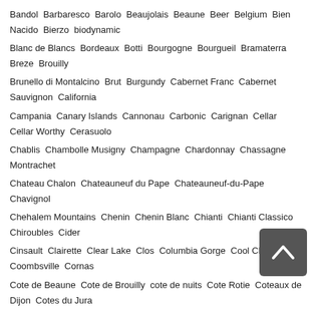Bandol  Barbaresco  Barolo  Beaujolais  Beaune  Beer  Belgium  Bien Nacido  Bierzo  biodynamic
Blanc de Blancs  Bordeaux  Botti  Bourgogne  Bourgueil  Bramaterra  Breze  Brouilly
Brunello di Montalcino  Brut  Burgundy  Cabernet Franc  Cabernet Sauvignon  California
Campania  Canary Islands  Cannonau  Carbonic  Carignan  Cellar  Cellar Worthy  Cerasuolo
Chablis  Chambolle Musigny  Champagne  Chardonnay  Chassagne Montrachet
Chateau Chalon  Chateauneuf du Pape  Chateauneuf-du-Pape  Chavignol
Chehalem Mountains  Chenin  Chenin Blanc  Chianti  Chianti Classico  Chiroubles  Cider
Cinsault  Clairette  Clear Lake  Clos  Columbia Gorge  Cool Climate  Coombsville  Cornas
Cote de Beaune  Cote de Brouilly  cote de nuits  Cote Rotie  Coteaux de Dijon  Cotes du Jura
Cotes du Rhone  Diatomaceous  Dijon  Dolcetto  Dry Riesling  Ecueil  Eola-Amity Hills
Eric Asimov  Etna  Extra Brut  Fiano  Fleurie  France  Frappato  Freisa  French Alps  Friuli
Galicia  Gamay  Gang of Four  Garnacha  Gattinara  Germany  gevrey chambertin
Gevrey-Chambertin  Ghemme  Gigondas  Glou Glou  Good Value  Gran Reserva  Grand Cru
Granite  Grenache  Grenache Gris  Grower Champagne  GSM Blend  Hermitage  IGT  Italy